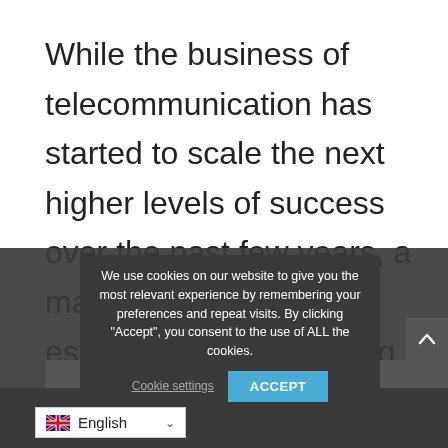While the business of telecommunication has started to scale the next higher levels of success over the past few years, a maximum number of established and evolving businesspersons with different professional backgrounds and past accelerated.
We use cookies on our website to give you the most relevant experience by remembering your preferences and repeat visits. By clicking "Accept", you consent to the use of ALL the cookies.
Cookie settings
ACCEPT
English